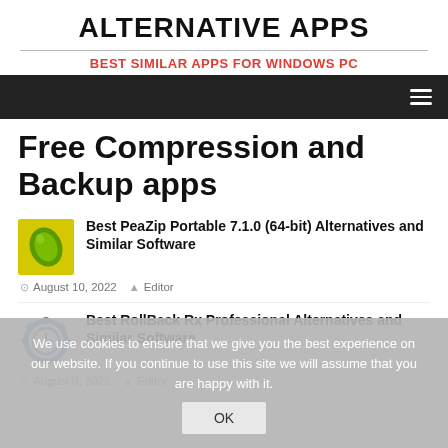ALTERNATIVE APPS
BEST SIMILAR APPS FOR WINDOWS PC
Free Compression and Backup apps
Best PeaZip Portable 7.1.0 (64-bit) Alternatives and Similar Software
August 10, 2022   Editor
Best RollBack Rx Professional Alternatives and Similar Software
August 8, 2022   Editor
We use cookies to ensure that we give you the best experience on our website. If you continue to use this site we will assume that you are happy with it.